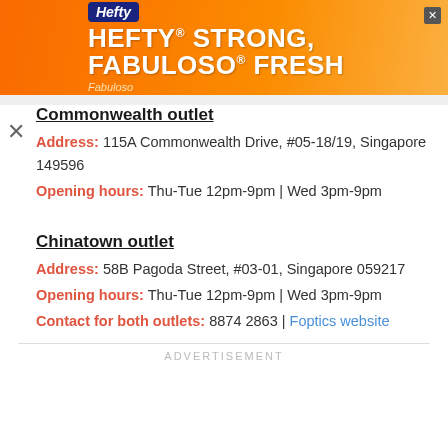[Figure (infographic): Orange advertisement banner for Hefty and Fabuloso products with text: HEFTY STRONG, FABULOSO FRESH]
Commonwealth outlet
Address: 115A Commonwealth Drive, #05-18/19, Singapore 149596
Opening hours: Thu-Tue 12pm-9pm | Wed 3pm-9pm
Chinatown outlet
Address: 58B Pagoda Street, #03-01, Singapore 059217
Opening hours: Thu-Tue 12pm-9pm | Wed 3pm-9pm
Contact for both outlets: 8874 2863 | Foptics website
ADVERTISEMENT